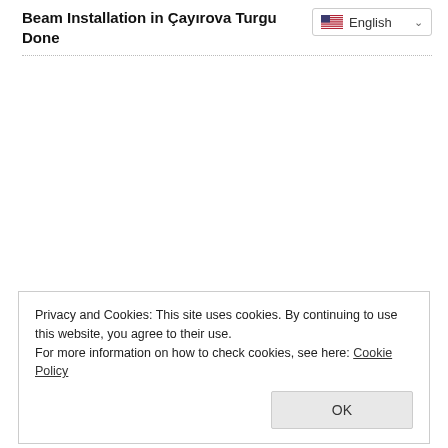Beam Installation in Çayırova Turgu
Done
Privacy and Cookies: This site uses cookies. By continuing to use this website, you agree to their use.
For more information on how to check cookies, see here: Cookie Policy
OK